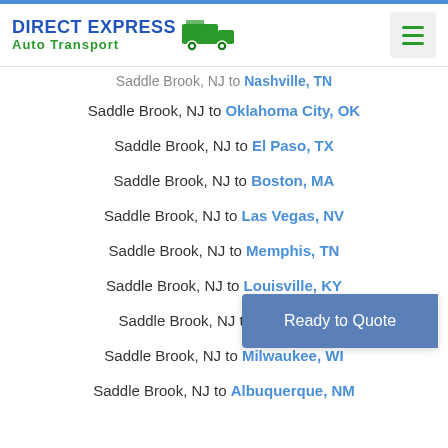Direct Express Auto Transport
Saddle Brook, NJ to Nashville, TN
Saddle Brook, NJ to Oklahoma City, OK
Saddle Brook, NJ to El Paso, TX
Saddle Brook, NJ to Boston, MA
Saddle Brook, NJ to Las Vegas, NV
Saddle Brook, NJ to Memphis, TN
Saddle Brook, NJ to Louisville, KY
Saddle Brook, NJ to Baltimore, MD
Saddle Brook, NJ to Milwaukee, WI
Saddle Brook, NJ to Albuquerque, NM